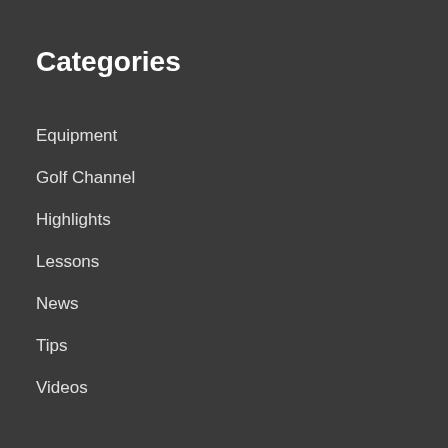Categories
Equipment
Golf Channel
Highlights
Lessons
News
Tips
Videos
Usefull Links
Contact us